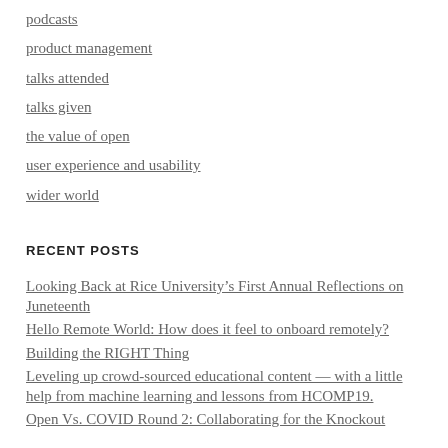podcasts
product management
talks attended
talks given
the value of open
user experience and usability
wider world
RECENT POSTS
Looking Back at Rice University’s First Annual Reflections on Juneteenth
Hello Remote World: How does it feel to onboard remotely?
Building the RIGHT Thing
Leveling up crowd-sourced educational content — with a little help from machine learning and lessons from HCOMP19.
Open Vs. COVID Round 2: Collaborating for the Knockout